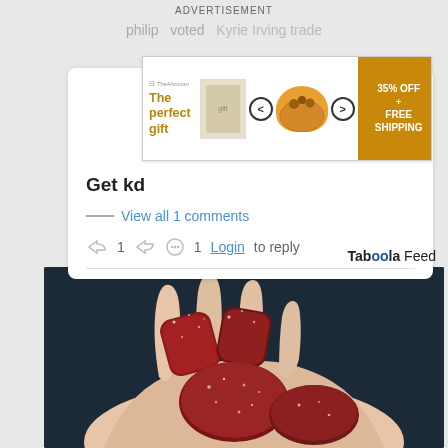ADVERTISEMENT
philip  voted  Kyrie Irving trade
[Figure (screenshot): Advertisement banner: 'The perfect gift' with food images, navigation arrows, and '35% OFF + FREE SHIPPING' badge in gold/brown]
Get kd
View all 1 comments
1  [thumbs down]  [comment] 1  Login to reply
Taboola Feed
[Figure (photo): Photo of a hand holding several red/dark sugar-coated gummy candies against a dark background]